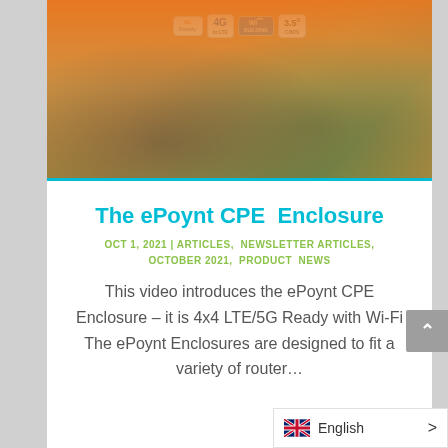[Figure (photo): Product image banner showing ePoynt CPE Enclosure with orange background and wireless technology badges: 5G Ready, 4G br.LTE, Wi-Fi Building, 3.5G CBRS]
The ePoynt CPE  Enclosure
OCT 1, 2021 | ARTICLES, NEWSLETTER ARTICLES, OCTOBER 2021, PRODUCT NEWS
This video introduces the ePoynt CPE Enclosure – it is 4x4 LTE/5G Ready with Wi-Fi The ePoynt Enclosures are designed to fit a variety of router…